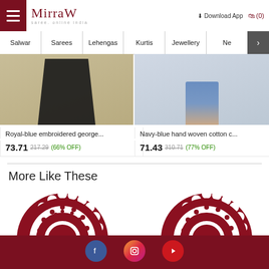Mirraw - saree, online india — Download App — (0)
Salwar | Sarees | Lehengas | Kurtis | Jewellery | Ne >
[Figure (photo): Product image of royal-blue embroidered georgette garment (black overlay), cropped partial view]
Royal-blue embroidered george...
73.71  217.29  (66% OFF)
[Figure (photo): Product image of navy-blue hand woven cotton item with jeans, legs visible]
Navy-blue hand woven cotton c...
71.43  310.71  (77% OFF)
More Like These
[Figure (illustration): Mirraw decorative mandala logo mark — dark red circular ornamental design with inner circle]
[Figure (illustration): Mirraw decorative mandala logo mark — dark red circular ornamental design with inner circle]
Social media icons: Facebook, Instagram, YouTube